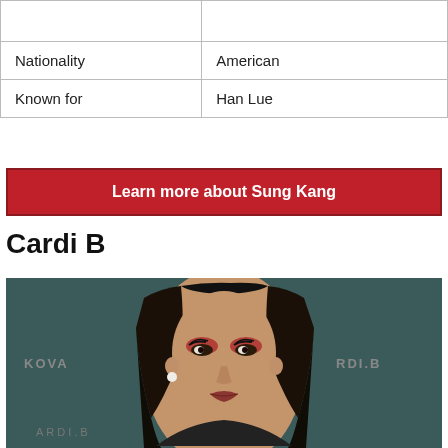|  |  |
| Nationality | American |
| Known for | Han Lue |
Learn more about Sung Kang
Cardi B
[Figure (photo): Portrait photo of Cardi B at a CARDI.B branded event with a dark teal background. She has long straight black hair, dramatic eye makeup with red eyeshadow, and is wearing pearl earrings.]